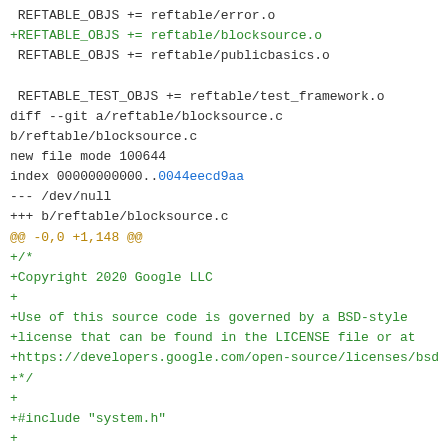Diff/patch code block showing git diff output for reftable/blocksource.c including file additions and license header